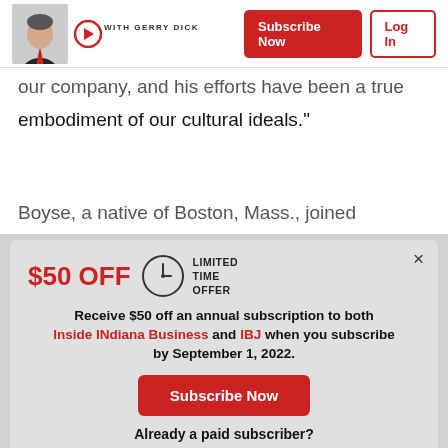[Figure (screenshot): Header with a person photo, 'WITH GERRY DICK' logo/brand text, and two buttons: 'Subscribe Now' (red) and 'Log In' (outlined)]
...our company, and his efforts have been a true embodiment of our cultural ideals."
Boyse, a native of Boston, Mass., joined
[Figure (infographic): Popup modal offering $50 OFF with clock icon and LIMITED TIME OFFER label. Text: 'Receive $50 off an annual subscription to both Inside INdiana Business and IBJ when you subscribe by September 1, 2022.' Buttons: 'Subscribe Now' and 'Log In'. Close X in top right.]